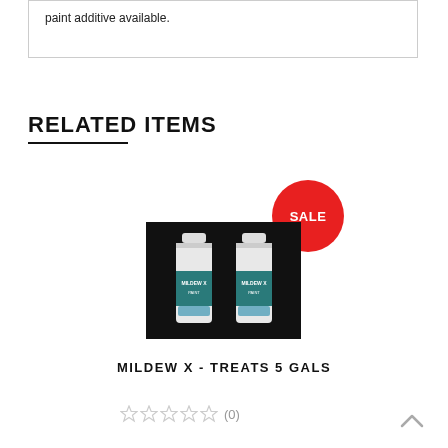paint additive available.
RELATED ITEMS
[Figure (photo): Two white bottles of Mildew X product on a black background, with a red SALE badge in the upper right]
MILDEW X - TREATS 5 GALS
(0) star rating